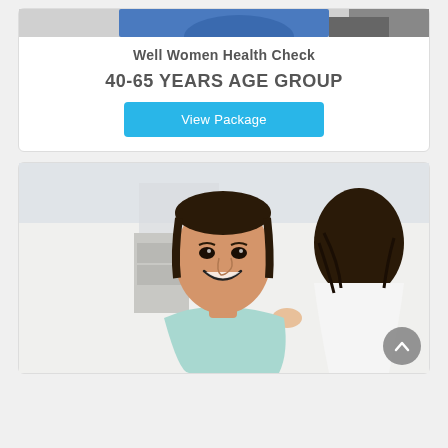[Figure (photo): Top portion of a photo showing a woman in a blue top at a medical/health check setting, partially cropped]
Well Women Health Check
40-65 YEARS AGE GROUP
View Package
[Figure (photo): A smiling middle-aged woman in a light blue shirt being examined by a doctor (seen from behind with dark hair), in a bright medical office setting]